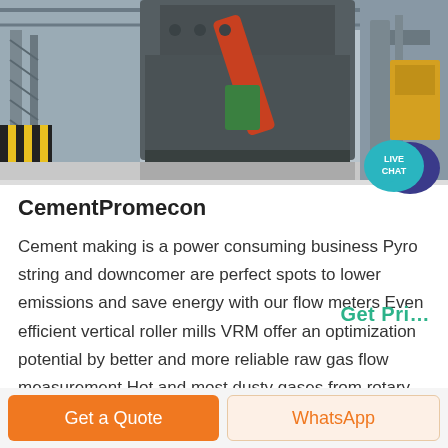[Figure (photo): Industrial factory interior with heavy machinery — a large metal machine with orange/red mechanical arm, warehouse setting with cranes and equipment]
CementPromecon
Cement making is a power consuming business Pyro string and downcomer are perfect spots to lower emissions and save energy with our flow meters Even efficient vertical roller mills VRM offer an optimization potential by better and more reliable raw gas flow measurement Hot and most dusty gases from rotary kiln pre heater tower and clinker